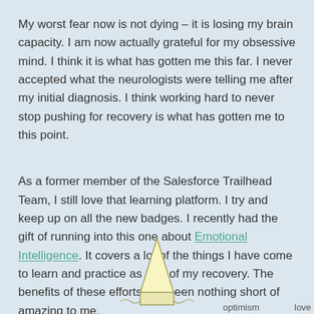My worst fear now is not dying – it is losing my brain capacity. I am now actually grateful for my obsessive mind. I think it is what has gotten me this far. I never accepted what the neurologists were telling me after my initial diagnosis. I think working hard to never stop pushing for recovery is what has gotten me to this point.
As a former member of the Salesforce Trailhead Team, I still love that learning platform. I try and keep up on all the new badges. I recently had the gift of running into this one about Emotional Intelligence. It covers a lot of the things I have come to learn and practice as part of my recovery. The benefits of these efforts has been nothing short of amazing to me.
[Figure (illustration): Partial view of an illustration showing a pencil/rocket shape with a light yellow triangular tip. Labels 'optimism' on the left and 'love' on the right are visible at the bottom of the page, suggesting an emotional intelligence diagram.]